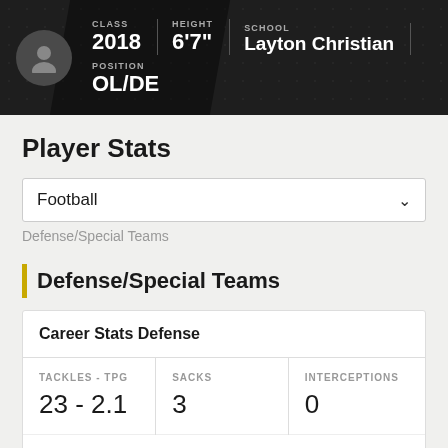CLASS 2018 | HEIGHT 6'7" | SCHOOL Layton Christian | POSITION OL/DE
Player Stats
Football
Defense/Special Teams
Defense/Special Teams
| TACKLES - TPG | SACKS | INTERCEPTIONS |
| --- | --- | --- |
| 23 - 2.1 | 3 | 0 |